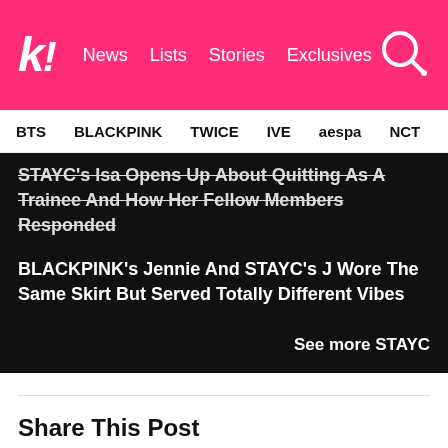k! News Lists Stories Exclusives
BTS BLACKPINK TWICE IVE aespa NCT SEVE
STAYC's Isa Opens Up About Quitting As A Trainee And How Her Fellow Members Responded
BLACKPINK's Jennie And STAYC's J Wore The Same Skirt But Served Totally Different Vibes
See more STAYC
Share This Post
Facebook
Twitter